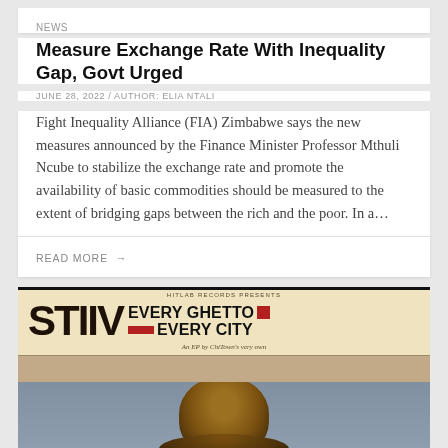NEWS
Measure Exchange Rate With Inequality Gap, Govt Urged
JUNE 28, 2022 / AUTHOR: ELIA NTALI
Fight Inequality Alliance (FIA) Zimbabwe says the new measures announced by the Finance Minister Professor Mthuli Ncube to stabilize the exchange rate and promote the availability of basic commodities should be measured to the extent of bridging gaps between the rich and the poor. In a…
READ MORE →
[Figure (photo): Album cover for STIIV - Every Ghetto Every City. Shows the text 'HITLAB RECORDS PRESENTS' at top, large bold 'STIIV' text alongside 'EVERY GHETTO EVERY CITY' with red graphic elements, subtitle 'An EP by ChiTown's very own', and a portrait photo of a man below.]